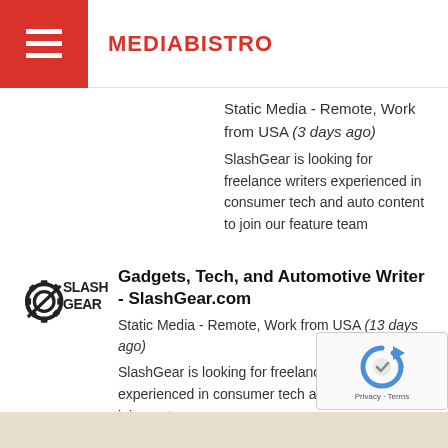MEDIABISTRO
Static Media - Remote, Work from USA (3 days ago)
SlashGear is looking for freelance writers experienced in consumer tech and auto content to join our feature team
Gadgets, Tech, and Automotive Writer - SlashGear.com
Static Media - Remote, Work from USA (13 days ago)
SlashGear is looking for freelance writers experienced in consumer tech and auto content to join our team